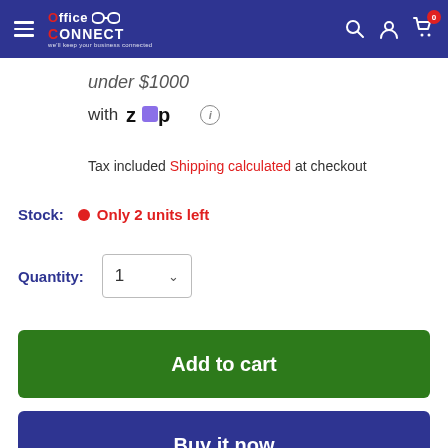[Figure (screenshot): Office Connect website header with hamburger menu, logo, search icon, user icon, and cart icon with badge showing 0]
under $1000
with zip
Tax included Shipping calculated at checkout
Stock: Only 2 units left
Quantity: 1
Add to cart
Buy it now